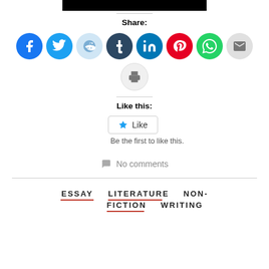[Figure (other): Black bar at top of page]
Share:
[Figure (infographic): Row of social media share icons: Facebook (blue), Twitter (blue), Reddit (light blue), Tumblr (dark blue), LinkedIn (blue), Pinterest (red), WhatsApp (green), Email (gray), and a printer icon (gray)]
Like this:
[Figure (other): Like button widget with star icon and text 'Like']
Be the first to like this.
No comments
ESSAY   LITERATURE   NON-FICTION   WRITING